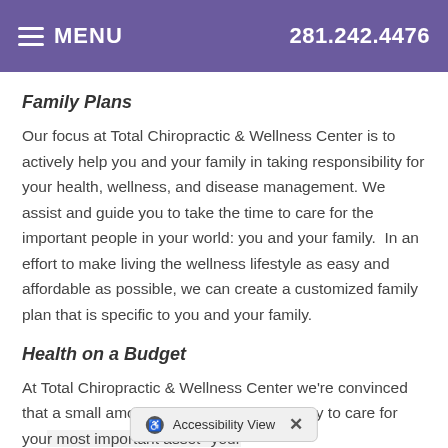MENU  281.242.4476
Family Plans
Our focus at Total Chiropractic & Wellness Center is to actively help you and your family in taking responsibility for your health, wellness, and disease management. We assist and guide you to take the time to care for the important people in your world: you and your family.  In an effort to make living the wellness lifestyle as easy and affordable as possible, we can create a customized family plan that is specific to you and your family.
Health on a Budget
At Total Chiropractic & Wellness Center we're convinced that a small amount of your time and money to care for your most important asset--your